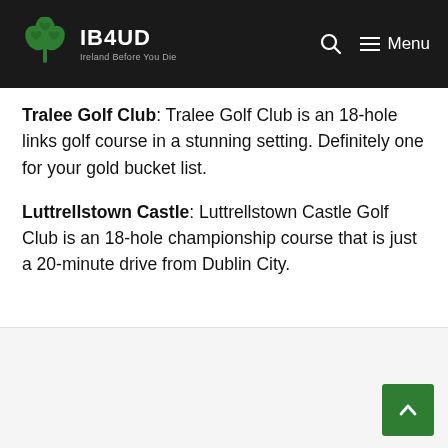IB4UD — Ireland Before You Die
Tralee Golf Club: Tralee Golf Club is an 18-hole links golf course in a stunning setting. Definitely one for your gold bucket list.
Luttrellstown Castle: Luttrellstown Castle Golf Club is an 18-hole championship course that is just a 20-minute drive from Dublin City.
[Figure (other): Light gray content placeholder box at the bottom of the page with a green back-to-top arrow button in the bottom-right corner.]